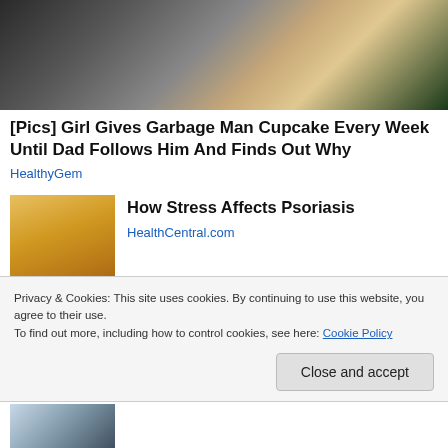[Figure (photo): Photo of a child and a person with dark clothing, cropped top image of a news article teaser]
[Pics] Girl Gives Garbage Man Cupcake Every Week Until Dad Follows Him And Finds Out Why
HealthyGem
[Figure (photo): A woman in a yellow sweater looking at her arm/wrist, related to psoriasis article]
How Stress Affects Psoriasis
HealthCentral.com
Privacy & Cookies: This site uses cookies. By continuing to use this website, you agree to their use.
To find out more, including how to control cookies, see here: Cookie Policy
[Figure (photo): Partial photo at the bottom, showing lower body/legs of a person]